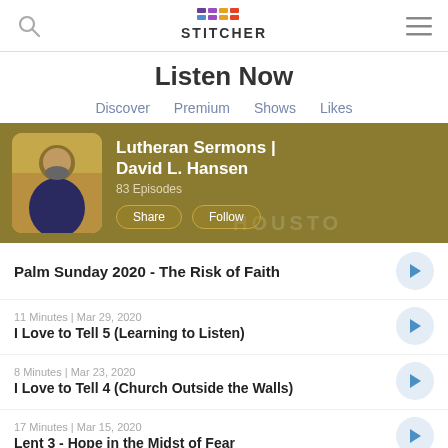Stitcher - Listen Now
Listen Now
Discover  Premium  Shows  Likes
[Figure (screenshot): Podcast banner for Lutheran Sermons | David L. Hansen, showing a photo of a man gesturing, podcast name, 83 Episodes, Share and Follow buttons, on an olive/gold background.]
Palm Sunday 2020 - The Risk of Faith
11 Minutes | Mar 29, 2020
I Love to Tell 5 (Learning to Listen)
8 Minutes | Mar 23, 2020
I Love to Tell 4 (Church Outside the Walls)
17 Minutes | Mar 15, 2020
Lent 3 - Hope in the Midst of Fear